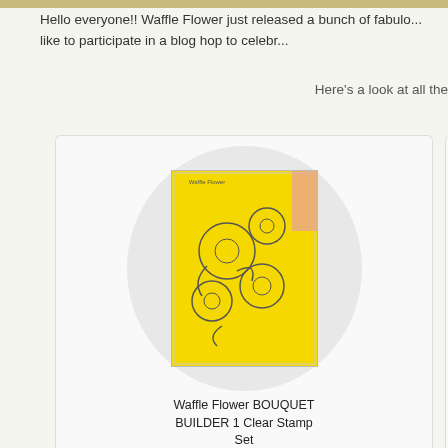Hello everyone!! Waffle Flower just released a bunch of fabulous new products and we'd like to participate in a blog hop to celebrate!
Here's a look at all the
[Figure (photo): Waffle Flower BOUQUET BUILDER 1 Clear Stamp Set product card with yellow stamp packaging shown in a circular grey background]
Waffle Flower BOUQUET BUILDER 1 Clear Stamp Set
buy from
[Figure (photo): Waffle Flower BOUQUET BUILDER 1 Die Set product card with yellow die set packaging shown in a circular grey background]
Waffle Flower BOUQUET BUILDER 1 Die Set
buy from
[Figure (photo): Waffle Flower THEREFORE I AM Stamp Set product card with yellow packaging shown in a circular grey background (partially cropped)]
Waffle Flower THEREFORE I AM Stamp Set
buy from
[Figure (photo): Bottom row first product card, partially visible, yellow packaging with floral outline die design]
[Figure (photo): Bottom row second product card, partially visible, yellow packaging with text/sentiments stamp design]
[Figure (photo): Bottom row third product card, partially visible, yellow packaging with floral stamp design]